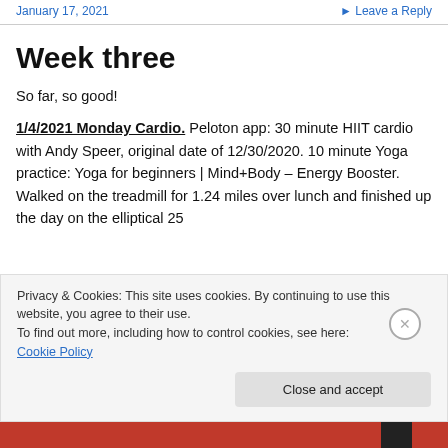January 17, 2021   ▸ Leave a Reply
Week three
So far, so good!
1/4/2021 Monday Cardio. Peloton app: 30 minute HIIT cardio with Andy Speer, original date of 12/30/2020. 10 minute Yoga practice: Yoga for beginners | Mind+Body – Energy Booster. Walked on the treadmill for 1.24 miles over lunch and finished up the day on the elliptical 25
Privacy & Cookies: This site uses cookies. By continuing to use this website, you agree to their use.
To find out more, including how to control cookies, see here: Cookie Policy